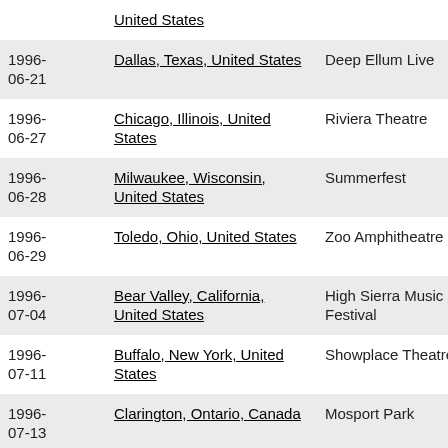| Date | Location | Venue |  |
| --- | --- | --- | --- |
|  | United States |  |  |
| 1996-06-21 | Dallas, Texas, United States | Deep Ellum Live | setlist |
| 1996-06-27 | Chicago, Illinois, United States | Riviera Theatre | setlist |
| 1996-06-28 | Milwaukee, Wisconsin, United States | Summerfest | setlist |
| 1996-06-29 | Toledo, Ohio, United States | Zoo Amphitheatre | setlist |
| 1996-07-04 | Bear Valley, California, United States | High Sierra Music Festival | setlist |
| 1996-07-11 | Buffalo, New York, United States | Showplace Theatre | setlist |
| 1996-07-13 | Clarington, Ontario, Canada | Mosport Park | setlist |
| 1996-07-17... | Tucson, Arizona, United States | Outback | setlist |